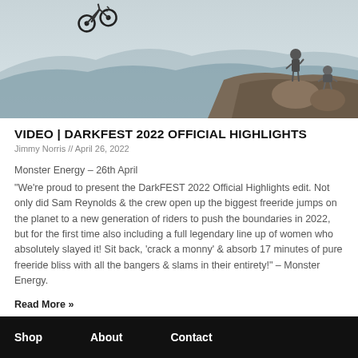[Figure (photo): Outdoor mountain biking action photo showing a rider airborne on a bicycle in the upper left and two people on rocky terrain in the background against a misty mountain landscape.]
VIDEO | DARKFEST 2022 OFFICIAL HIGHLIGHTS
Jimmy Norris // April 26, 2022
Monster Energy – 26th April
"We're proud to present the DarkFEST 2022 Official Highlights edit. Not only did Sam Reynolds & the crew open up the biggest freeride jumps on the planet to a new generation of riders to push the boundaries in 2022, but for the first time also including a full legendary line up of women who absolutely slayed it! Sit back, 'crack a monny' & absorb 17 minutes of pure freeride bliss with all the bangers & slams in their entirety!" – Monster Energy.
Read More »
Shop    About    Contact